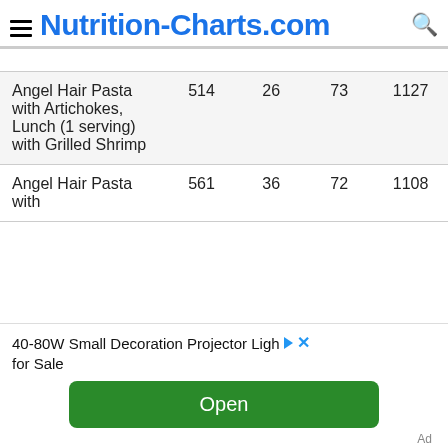Nutrition-Charts.com
| Angel Hair Pasta with Artichokes, Lunch (1 serving) with Grilled Shrimp | 514 | 26 | 73 | 1127 |
| Angel Hair Pasta with | 561 | 36 | 72 | 1108 |
40-80W Small Decoration Projector Light for Sale
Open
Ad